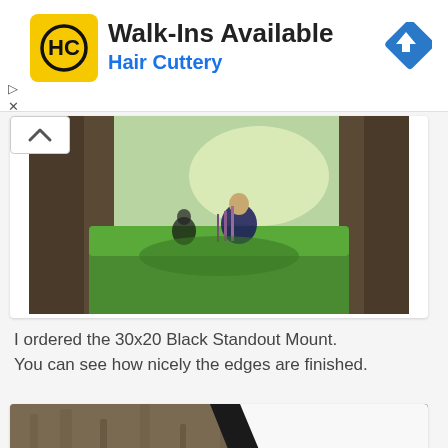[Figure (screenshot): Hair Cuttery advertisement banner with yellow HC logo, 'Walk-Ins Available' headline, 'Hair Cuttery' subtitle in blue, and a blue navigation diamond icon on the right]
[Figure (photo): Photograph of a person sitting in a grassy field between two trees, with wildflowers, mounted as a 30x20 Black Standout Mount print]
I ordered the 30x20 Black Standout Mount.
You can see how nicely the edges are finished.
[Figure (photo): Close-up photograph showing the edge of a Black Standout Mount print against a white wall, with tree bark texture visible]